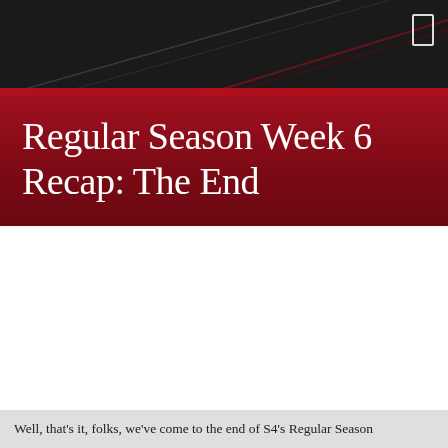Regular Season Week 6 Recap: The End
Well, that's it, folks, we've come to the end of S4's Regular Season